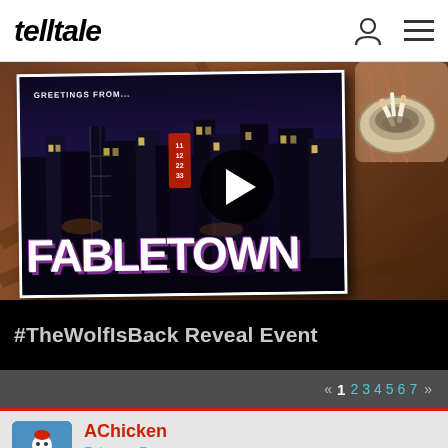telltale
[Figure (screenshot): Screenshot of Telltale Games website showing a video thumbnail for '#TheWolfIsBack Reveal Event' with Greetings from Fabletown postcard image and play button overlay, with ashtray visible in top right corner]
#TheWolfIsBack Reveal Event
« 1 2 3 4 5 6 7 »
AChicken
February 7
These are going to be the longest 48hrs (give or take) ever